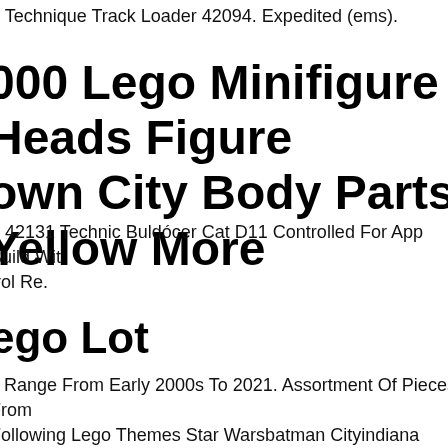o Technique Track Loader 42094. Expedited (ems).
000 Lego Minifigure Heads Figure own City Body Parts Yellow More
o 42131 Technic Buldócer Cat D11 Controlled For App Build With trol Re.
ego Lot
s Range From Early 2000s To 2021. Assortment Of Pieces From Following Lego Themes Star Warsbatman Cityindiana esspongebobninjagoatlantisharry Potterdcchimapirates Of The bbean Lord Of The Ringsand Moremega Blocks Are Also Includ Well As An Assortment Alf Various Other Toys